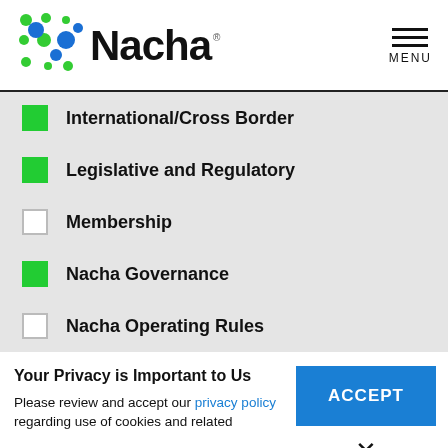[Figure (logo): Nacha logo with colorful dot grid and bold Nacha wordmark]
International/Cross Border (checked green)
Legislative and Regulatory (checked green)
Membership (unchecked)
Nacha Governance (checked green)
Nacha Operating Rules (unchecked)
Your Privacy is Important to Us
Please review and accept our privacy policy regarding use of cookies and related
ACCEPT